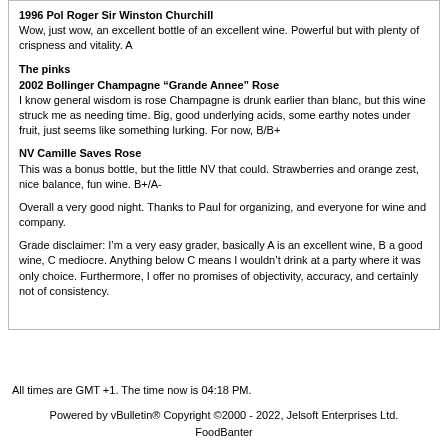1996 Pol Roger Sir Winston Churchill
Wow, just wow, an excellent bottle of an excellent wine. Powerful but with plenty of crispness and vitality. A
The pinks
2002 Bollinger Champagne “Grande Annee” Rose
I know general wisdom is rose Champagne is drunk earlier than blanc, but this wine struck me as needing time. Big, good underlying acids, some earthy notes under fruit, just seems like something lurking. For now, B/B+
NV Camille Saves Rose
This was a bonus bottle, but the little NV that could. Strawberries and orange zest, nice balance, fun wine. B+/A-
Overall a very good night. Thanks to Paul for organizing, and everyone for wine and company.
Grade disclaimer: I’m a very easy grader, basically A is an excellent wine, B a good wine, C mediocre. Anything below C means I wouldn’t drink at a party where it was only choice. Furthermore, I offer no promises of objectivity, accuracy, and certainly not of consistency.
All times are GMT +1. The time now is 04:18 PM.
Powered by vBulletin® Copyright ©2000 - 2022, Jelsoft Enterprises Ltd.
FoodBanter